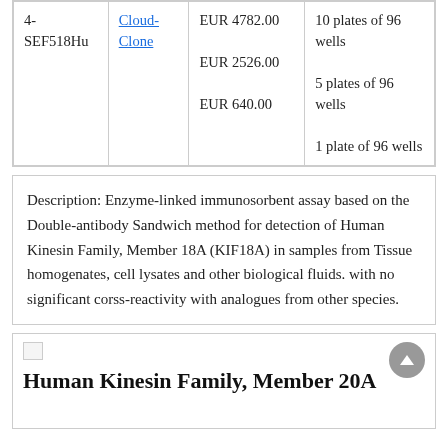| 4-SEF518Hu | Cloud-Clone | EUR 4782.00
EUR 2526.00
EUR 640.00 | 10 plates of 96 wells
5 plates of 96 wells
1 plate of 96 wells |
Description: Enzyme-linked immunosorbent assay based on the Double-antibody Sandwich method for detection of Human Kinesin Family, Member 18A (KIF18A) in samples from Tissue homogenates, cell lysates and other biological fluids. with no significant corss-reactivity with analogues from other species.
[Figure (other): Bottom card with broken image icon, navigation arrow button, and partial title text 'Human Kinesin Family, Member 20A']
Human Kinesin Family, Member 20A